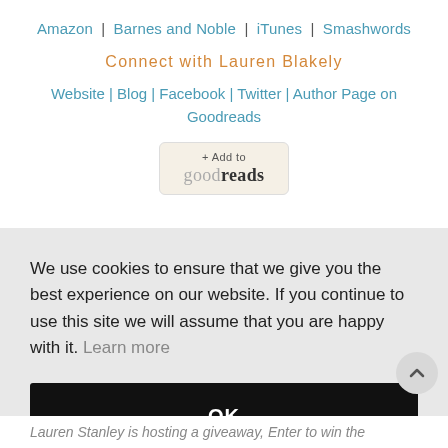Amazon | Barnes and Noble | iTunes | Smashwords
Connect with Lauren Blakely
Website | Blog | Facebook | Twitter | Author Page on Goodreads
[Figure (other): Goodreads 'Add to' badge button]
We use cookies to ensure that we give you the best experience on our website. If you continue to use this site we will assume that you are happy with it. Learn more
OK
Lauren Stanley is hosting a giveaway, Enter to win the